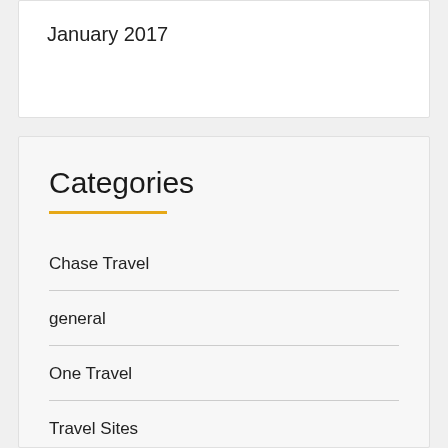January 2017
Categories
Chase Travel
general
One Travel
Travel Sites
Travel Today